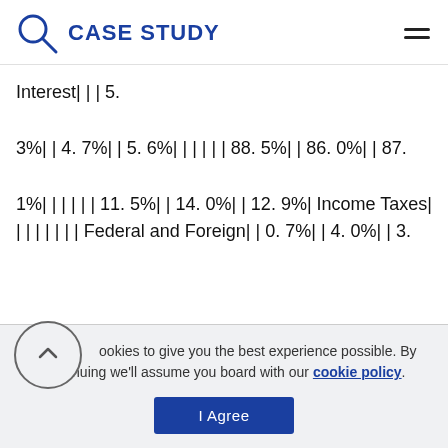CASE STUDY
Interest| | | 5.
3%| | 4. 7%| | 5. 6%| | | | | | 88. 5%| | 86. 0%| | 87.
1%| | | | | | 11. 5%| | 14. 0%| | 12. 9%| Income Taxes| | | | | | | | Federal and Foreign| | 0. 7%| | 4. 0%| | 3.
We use cookies to give you the best experience possible. By continuing we'll assume you board with our cookie policy.